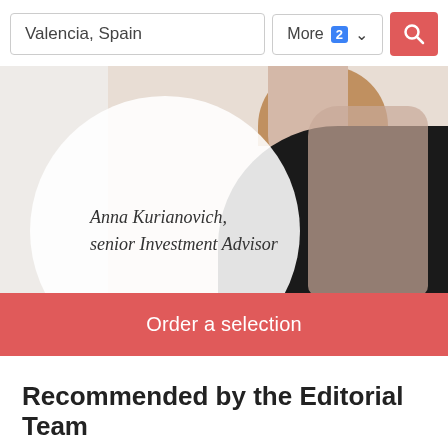[Figure (screenshot): Search bar with location field showing 'Valencia, Spain', a 'More 2' dropdown button, and a red search icon button]
[Figure (photo): Hero banner with a woman (Anna Kurianovich, senior Investment Advisor) shown from the shoulders up wearing a black top. A large white semi-transparent circle overlays the left portion with her name and title in italic text. A red 'Order a selection' button runs across the full width at the bottom of the banner.]
Recommended by the Editorial Team